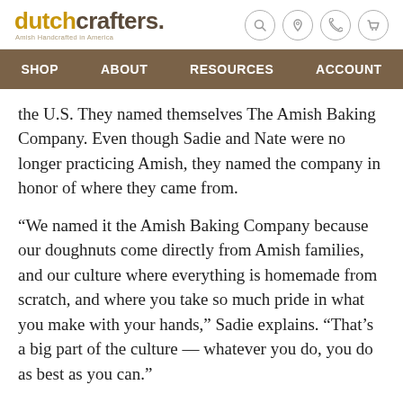dutchcrafters. Amish Handcrafted in America
SHOP   ABOUT   RESOURCES   ACCOUNT
the U.S. They named themselves The Amish Baking Company. Even though Sadie and Nate were no longer practicing Amish, they named the company in honor of where they came from.
“We named it the Amish Baking Company because our doughnuts come directly from Amish families, and our culture where everything is homemade from scratch, and where you take so much pride in what you make with your hands,” Sadie explains. “That’s a big part of the culture — whatever you do, you do as best as you can.”